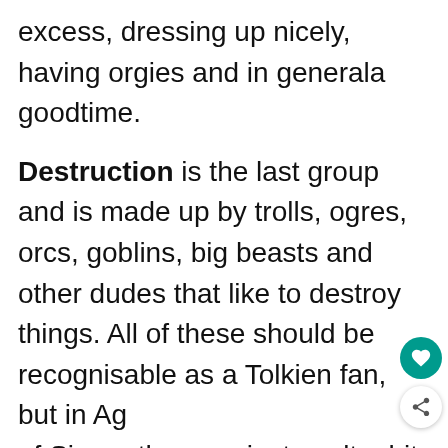excess, dressing up nicely, having orgies and in generala goodtime.
Destruction is the last group and is made up by trolls, ogres, orcs, goblins, big beasts and other dudes that like to destroy things. All of these should be recognisable as a Tolkien fan, but in Age of Sigmar they are just spelt a bit differently
[Figure (photo): Close-up photo of painted miniature wargaming figures, showing detailed bronze/metallic machinery parts with blue accents on a green battlefield base. Overlaid with a 'What's Next' panel showing Age of Sigmar Lore and... thumbnail.]
[Figure (screenshot): Advertisement banner showing Walmart curbside pickup and delivery offer with checkmarks, a blue navigation diamond icon, a play button, an X close button, and text 'Members save big']